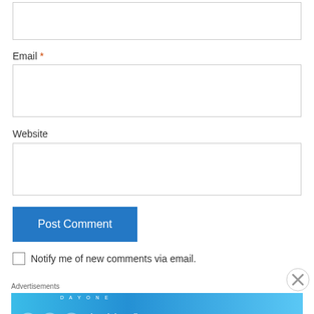[Figure (screenshot): Empty text input box at top of page]
Email *
[Figure (screenshot): Empty email input box]
Website
[Figure (screenshot): Empty website input box]
[Figure (screenshot): Post Comment button (blue)]
Notify me of new comments via email.
Advertisements
[Figure (screenshot): Day One journaling app advertisement banner: 'The only journaling app you'll ever need.']